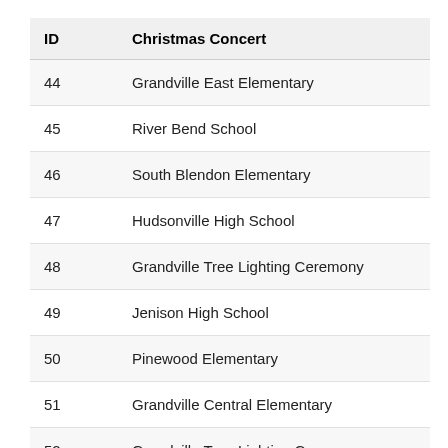| ID | Christmas Concert |
| --- | --- |
| 44 | Grandville East Elementary |
| 45 | River Bend School |
| 46 | South Blendon Elementary |
| 47 | Hudsonville High School |
| 48 | Grandville Tree Lighting Ceremony |
| 49 | Jenison High School |
| 50 | Pinewood Elementary |
| 51 | Grandville Central Elementary |
| 52 | Grandville Tree Lighting Ceremony |